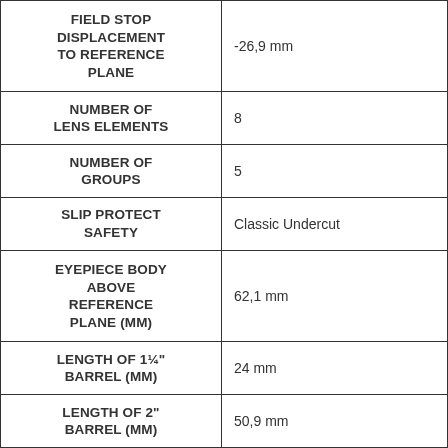| Property | Value |
| --- | --- |
| FIELD STOP DISPLACEMENT TO REFERENCE PLANE | -26,9 mm |
| NUMBER OF LENS ELEMENTS | 8 |
| NUMBER OF GROUPS | 5 |
| SLIP PROTECT SAFETY | Classic Undercut |
| EYEPIECE BODY ABOVE REFERENCE PLANE (MM) | 62,1 mm |
| LENGTH OF 1¼" BARREL (MM) | 24 mm |
| LENGTH OF 2" BARREL (MM) | 50,9 mm |